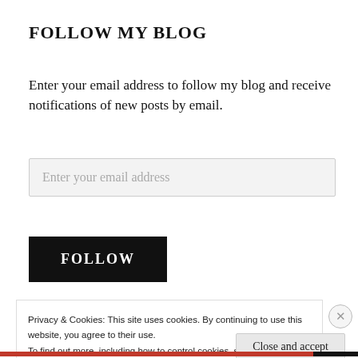FOLLOW MY BLOG
Enter your email address to follow my blog and receive notifications of new posts by email.
Enter your email address
FOLLOW
Privacy & Cookies: This site uses cookies. By continuing to use this website, you agree to their use.
To find out more, including how to control cookies, see here:
Cookie Policy
Close and accept